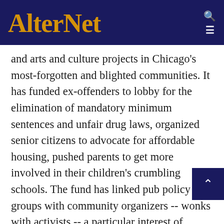AlterNet
and arts and culture projects in Chicago's most-forgotten and blighted communities. It has funded ex-offenders to lobby for the elimination of mandatory minimum sentences and unfair drug laws, organized senior citizens to advocate for affordable housing, pushed parents to get more involved in their children's crumbling schools. The fund has linked pub policy groups with community organizers -- wonks with activists -- a particular interest of Obama's. "The grants are small, but the impact is significant," says Jesus Garcia, vice chair of